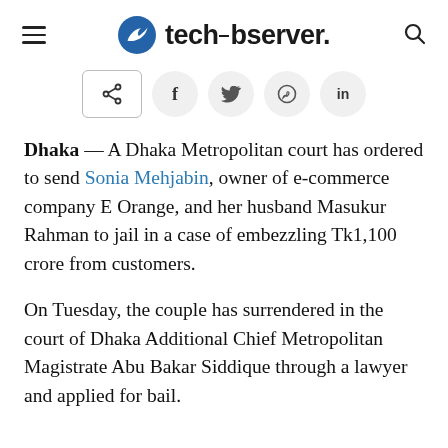techobserver.
[Figure (other): Social share buttons: share icon (square with rounded corners), Facebook, Twitter, WhatsApp, LinkedIn]
Dhaka — A Dhaka Metropolitan court has ordered to send Sonia Mehjabin, owner of e-commerce company E Orange, and her husband Masukur Rahman to jail in a case of embezzling Tk1,100 crore from customers.
On Tuesday, the couple has surrendered in the court of Dhaka Additional Chief Metropolitan Magistrate Abu Bakar Siddique through a lawyer and applied for bail.